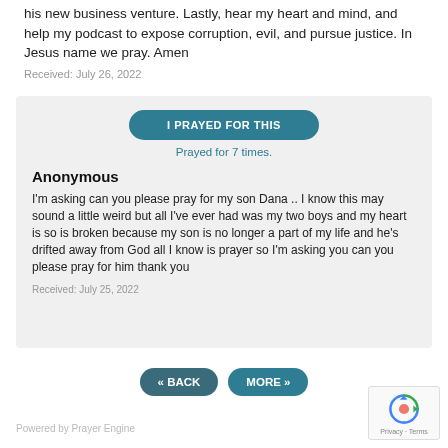his new business venture. Lastly, hear my heart and mind, and help my podcast to expose corruption, evil, and pursue justice. In Jesus name we pray. Amen
Received: July 26, 2022
I PRAYED FOR THIS
Prayed for 7 times.
Anonymous
I'm asking can you please pray for my son Dana .. I know this may sound a little weird but all I've ever had was my two boys and my heart is so is broken because my son is no longer a part of my life and he's drifted away from God all I know is prayer so I'm asking you can you please pray for him thank you
Received: July 25, 2022
« BACK
MORE »
Powered by Prayer Engine